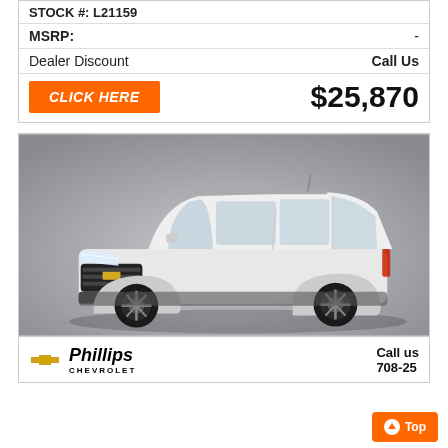STOCK #: L21159
| MSRP: | - |
| Dealer Discount | Call Us |
CLICK HERE   $25,870
[Figure (photo): White Chevrolet Trailblazer SUV on gray gradient background, front three-quarter view]
[Figure (logo): Phillips Chevrolet dealer logo with gold Chevy bowtie emblem]
Call us 708-25...
Top